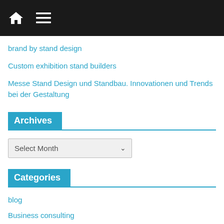[Navigation bar with home icon and menu icon]
brand by stand design
Custom exhibition stand builders
Messe Stand Design und Standbau. Innovationen und Trends bei der Gestaltung
Archives
Select Month
Categories
blog
Business consulting
exhibition design